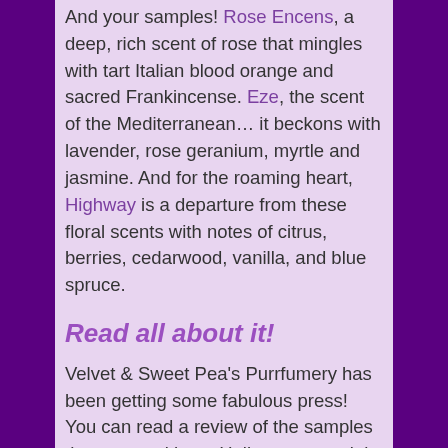And your samples! Rose Encens, a deep, rich scent of rose that mingles with tart Italian blood orange and sacred Frankincense. Eze, the scent of the Mediterranean… it beckons with lavender, rose geranium, myrtle and jasmine. And for the roaming heart, Highway is a departure from these floral scents with notes of citrus, berries, cedarwood, vanilla, and blue spruce.
Read all about it!
Velvet & Sweet Pea's Purrfumery has been getting some fabulous press! You can read a review of the samples that come with my Halloween special, Eze, Rose Encens, and Highway, on Fragrantica. Thank you, Ida Meister